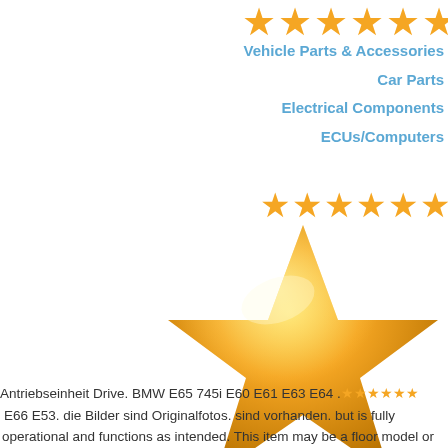[Figure (illustration): Row of orange/gold star rating icons at top right, partially cropped]
Vehicle Parts & Accessories
Car Parts
Electrical Components
ECUs/Computers
[Figure (illustration): Row of small orange star rating icons]
[Figure (illustration): Large golden star emoji/illustration centered in the right half of the page]
Antriebseinheit Drive. BMW E65 745i E60 E61 E63 E64 .★★★★★
E66 E53. die Bilder sind Originalfotos. sind vorhanden. but is fully
operational and functions as intended. This item may be a floor model or